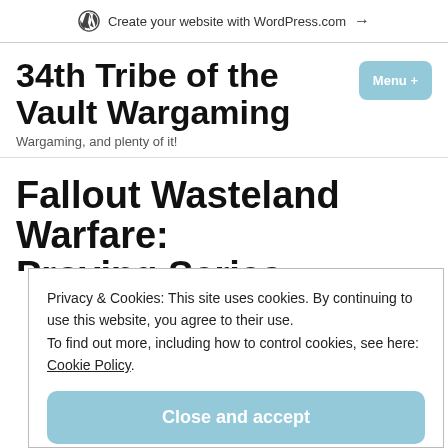Create your website with WordPress.com →
34th Tribe of the Vault Wargaming
Wargaming, and plenty of it!
Fallout Wasteland Warfare:
Privacy & Cookies: This site uses cookies. By continuing to use this website, you agree to their use.
To find out more, including how to control cookies, see here: Cookie Policy
Close and accept